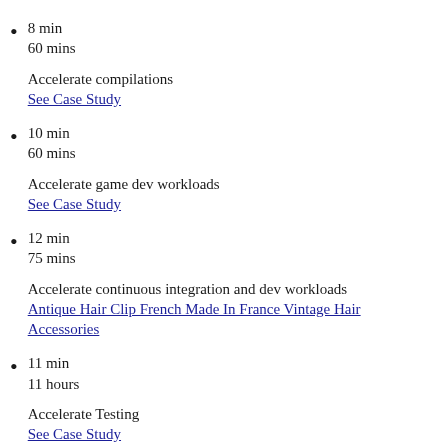8 min
60 mins

Accelerate compilations
See Case Study
10 min
60 mins

Accelerate game dev workloads
See Case Study
12 min
75 mins

Accelerate continuous integration and dev workloads
Antique Hair Clip French Made In France Vintage Hair Accessories
11 min
11 hours

Accelerate Testing
See Case Study